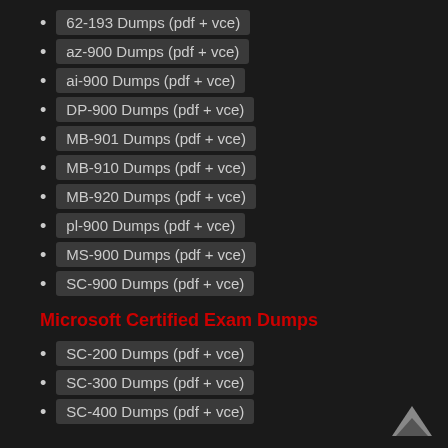62-193 Dumps (pdf + vce)
az-900 Dumps (pdf + vce)
ai-900 Dumps (pdf + vce)
DP-900 Dumps (pdf + vce)
MB-901 Dumps (pdf + vce)
MB-910 Dumps (pdf + vce)
MB-920 Dumps (pdf + vce)
pl-900 Dumps (pdf + vce)
MS-900 Dumps (pdf + vce)
SC-900 Dumps (pdf + vce)
Microsoft Certified Exam Dumps
SC-200 Dumps (pdf + vce)
SC-300 Dumps (pdf + vce)
SC-400 Dumps (pdf + vce)